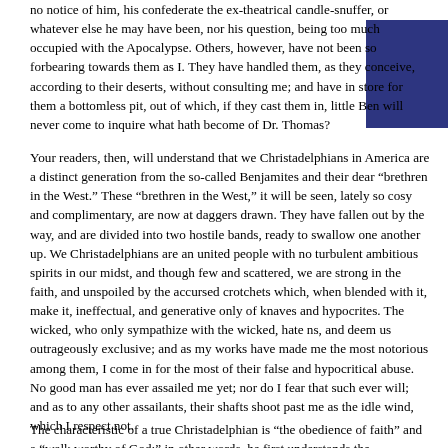no notice of him, his confederate the ex-theatrical candle-snuffer, or whatever else he may have been, nor his question, being too much occupied with the Apocalypse. Others, however, have not been so forbearing towards them as I. They have handled them, as they conceive, according to their deserts, without consulting me; and have in store for them a bottomless pit, out of which, if they cast them in, little Ben will never come to inquire what hath become of Dr. Thomas?
Your readers, then, will understand that we Christadelphians in America are a distinct generation from the so-called Benjamites and their dear "brethren in the West." These "brethren in the West," it will be seen, lately so cosy and complimentary, are now at daggers drawn. They have fallen out by the way, and are divided into two hostile bands, ready to swallow one another up. We Christadelphians are an united people with no turbulent ambitious spirits in our midst, and though few and scattered, we are strong in the faith, and unspoiled by the accursed crotchets which, when blended with it, make it, ineffectual, and generative only of knaves and hypocrites. The wicked, who only sympathize with the wicked, hate ns, and deem us outrageously exclusive; and as my works have made me the most notorious among them, I come in for the most of their false and hypocritical abuse. No good man has ever assailed me yet; nor do I fear that such ever will; and as to any other assailants, their shafts shoot past me as the idle wind, which I respect not.
The characteristic of a true Christadelphian is "the obedience of faith" and a "walk worthy of God;" in other words, he first understands the